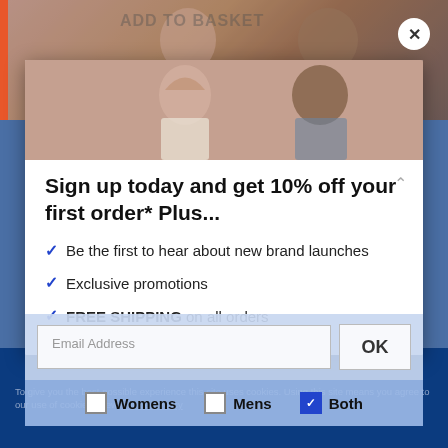[Figure (screenshot): Fashion e-commerce website background with two models (woman and man) sitting, partially obscured by a modal popup. Background shows ADD TO BASKET button, delivery info, and blue cookie consent bar.]
Sign up today and get 10% off your first order* Plus...
Be the first to hear about new brand launches
Exclusive promotions
FREE SHIPPING on all orders
Email Address
OK
Womens  Mens  Both
To give you the best possible experience this site uses cookies. Using this site means you agree to our use of cookies. View Cookies Policy